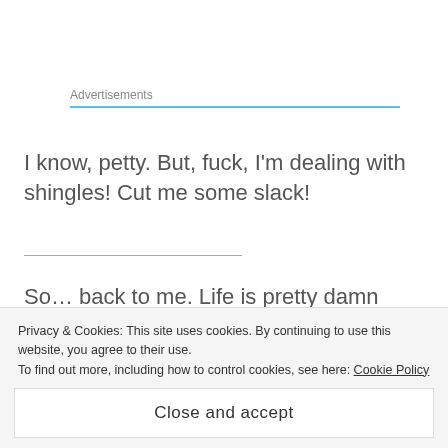Advertisements
I know, petty. But, fuck, I'm dealing with shingles! Cut me some slack!
So... back to me. Life is pretty damn good right now. I'm heading to the Turks & Caicos in a couple of weeks with Captain. He and I are wonderful! I'm still gushy in love. ❤
Privacy & Cookies: This site uses cookies. By continuing to use this website, you agree to their use.
To find out more, including how to control cookies, see here: Cookie Policy
Close and accept